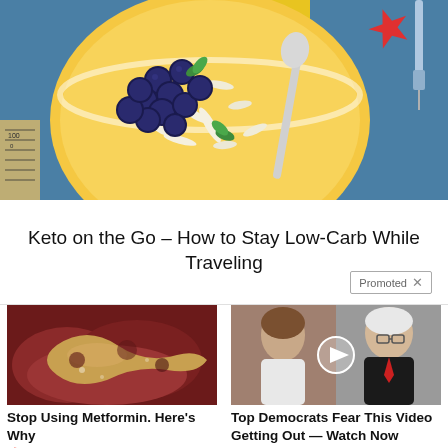[Figure (photo): Overhead shot of a bowl of oatmeal or smoothie bowl topped with blueberries, coconut flakes, and mint leaves, on a colorful background with a red starfish, yellow stripe, and a spoon. Partial view of a measuring tape on the left.]
Keto on the Go – How to Stay Low-Carb While Traveling
Promoted
[Figure (photo): Close-up medical image showing what appears to be internal organs or tissue, possibly related to diabetes/metformin content.]
Stop Using Metformin. Here's Why
190,791
[Figure (photo): Photo of a man and woman (appearing to be political figures), with a circular play button overlay indicating a video thumbnail.]
Top Democrats Fear This Video Getting Out — Watch Now Before It's Banned
315,151